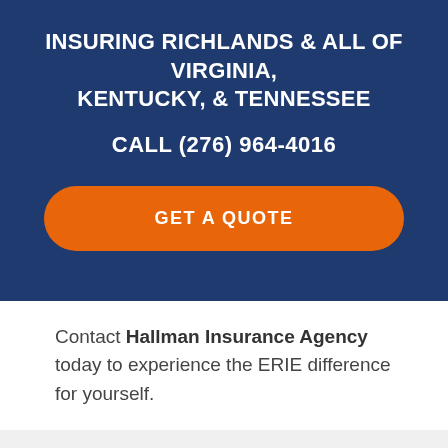INSURING RICHLANDS & ALL OF VIRGINIA, KENTUCKY, & TENNESSEE
CALL (276) 964-4016
GET A QUOTE
Contact Hallman Insurance Agency today to experience the ERIE difference for yourself.
FILED UNDER: HOME SENSE